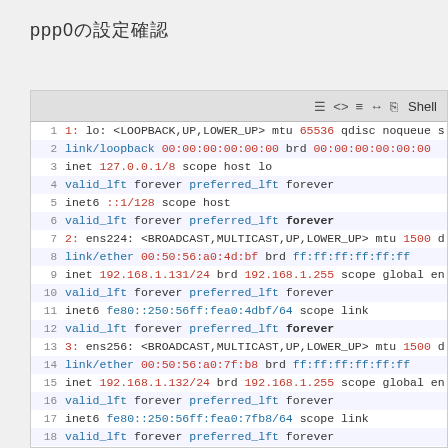ppp0の設定確認
[Figure (screenshot): Terminal shell window showing output of 'ip addr' command listing network interfaces lo, ens224, ens256, ens192, ppp0 with their IP addresses and MAC addresses]
1: lo: <LOOPBACK,UP,LOWER_UP> mtu 65536 qdisc noqueue s
    link/loopback 00:00:00:00:00:00 brd 00:00:00:00:00:00
    inet 127.0.0.1/8 scope host lo
    valid_lft forever preferred_lft forever
    inet6 ::1/128 scope host
    valid_lft forever preferred_lft forever
2: ens224: <BROADCAST,MULTICAST,UP,LOWER_UP> mtu 1500 d
    link/ether 00:50:56:a0:4d:bf brd ff:ff:ff:ff:ff:ff
    inet 192.168.1.131/24 brd 192.168.1.255 scope global en
    valid_lft forever preferred_lft forever
    inet6 fe80::250:56ff:fea0:4dbf/64 scope link
    valid_lft forever preferred_lft forever
3: ens256: <BROADCAST,MULTICAST,UP,LOWER_UP> mtu 1500 d
    link/ether 00:50:56:a0:7f:b8 brd ff:ff:ff:ff:ff:ff
    inet 192.168.1.132/24 brd 192.168.1.255 scope global en
    valid_lft forever preferred_lft forever
    inet6 fe80::250:56ff:fea0:7fb8/64 scope link
    valid_lft forever preferred_lft forever
4: ens192: <BROADCAST,MULTICAST,UP,LOWER_UP> mtu 1500 d
    link/ether 68:05:ca:1f:fa:f3 brd ff:ff:ff:ff:ff:ff
    inet6 fe80::feaf:5ff6:82f4:c057/64 scope link
    valid_lft forever preferred_lft forever
5: ppp0: <POINTOPOINT,MULTICAST,NOARP,UP,LOWER_UP> mtu